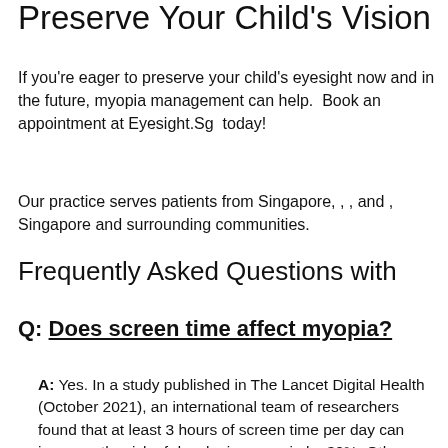Preserve Your Child's Vision
If you're eager to preserve your child's eyesight now and in the future, myopia management can help.  Book an appointment at Eyesight.Sg  today!
Our practice serves patients from Singapore, , , and , Singapore and surrounding communities.
Frequently Asked Questions with
Q: Does screen time affect myopia?
A: Yes. In a study published in The Lancet Digital Health (October 2021), an international team of researchers found that at least 3 hours of screen time per day can increase the risk of developing myopia by 30%. Other research suggests that reducing your child's screen time and encouraging more outdoor activities can prevent myopia and keep it from